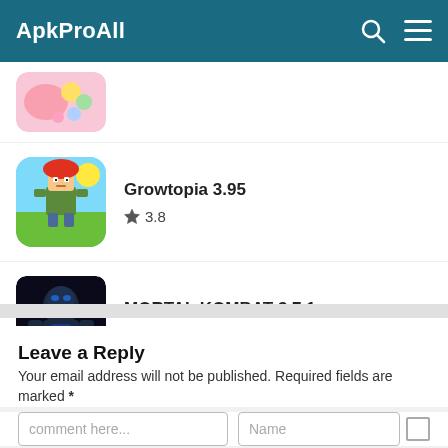ApkProAll
[Figure (screenshot): Partial app thumbnail (colorful, top-cropped) for an unspecified app]
Growtopia 3.95 ★ 3.8
[Figure (screenshot): Growtopia game icon: pixelated character with red hair on colorful background]
MORTAL KOMBAT 3.7.1 ★ 3.9
[Figure (screenshot): Mortal Kombat game icon: dark themed fighter character]
Leave a Reply
Your email address will not be published. Required fields are marked *
comment here...
Name